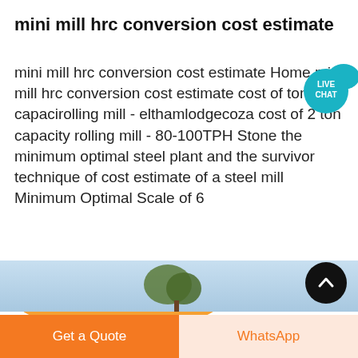mini mill hrc conversion cost estimate
mini mill hrc conversion cost estimate Home mini mill hrc conversion cost estimate cost of ton capacity rolling mill - elthamlodgecoza cost of 2 ton capacity rolling mill - 80-100TPH Stone the minimum optimal steel plant and the survivor technique of cost estimate of a steel mill Minimum Optimal Scale of 6
[Figure (other): Live Chat badge with teal circular icon and speech bubble]
[Figure (other): Orange rounded Get price button]
[Figure (photo): Partial image strip showing blue sky and tree tops]
[Figure (other): Black circular scroll-to-top button with upward chevron]
Get a Quote
WhatsApp